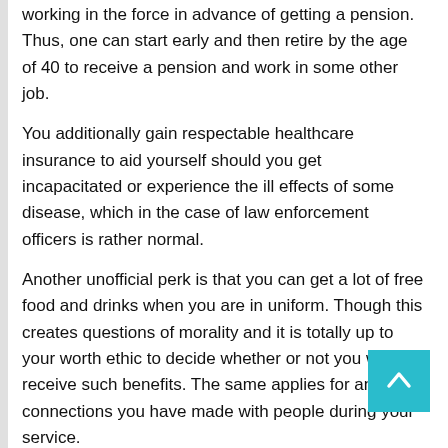working in the force in advance of getting a pension. Thus, one can start early and then retire by the age of 40 to receive a pension and work in some other job.
You additionally gain respectable healthcare insurance to aid yourself should you get incapacitated or experience the ill effects of some disease, which in the case of law enforcement officers is rather normal.
Another unofficial perk is that you can get a lot of free food and drinks when you are in uniform. Though this creates questions of morality and it is totally up to your worth ethic to decide whether or not you will receive such benefits. The same applies for any connections you have made with people during your service.
You additionally definitely have the opportunity to interact with celebrities while attempting to safeguard them or offering them protection.
The occupation of a law enforcement officer is tough a... the compensation isn't substantial. But, if you have a strong sense of justice and the urge to protect people, then this is